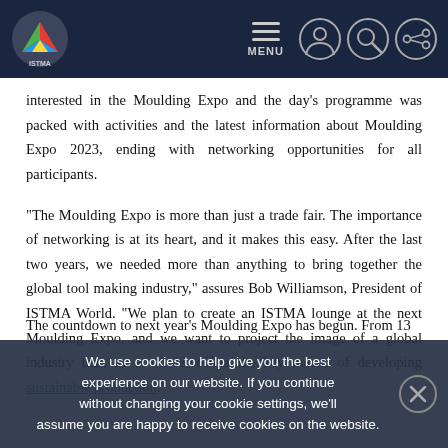ISTMA website navigation bar with logo, MENU, and icons
interested in the Moulding Expo and the day's programme was packed with activities and the latest information about Moulding Expo 2023, ending with networking opportunities for all participants.
"The Moulding Expo is more than just a trade fair. The importance of networking is at its heart, and it makes this easy. After the last two years, we needed more than anything to bring together the global tool making industry," assures Bob Williamson, President of ISTMA World. "We plan to create an ISTMA lounge at the next Moulding Expo, and we want to project the image of a global industry that, as a whole, offers the key means of developing sustainable production."
The countdown to next year's Moulding Expo has begun. From 13
We use cookies to help give you the best experience on our website. If you continue without changing your cookie settings, we'll assume you are happy to receive cookies on the website.